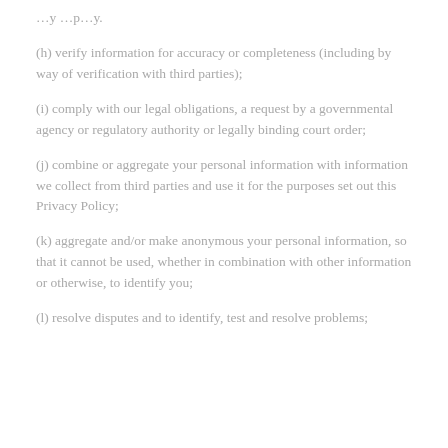(h) verify information for accuracy or completeness (including by way of verification with third parties);
(i) comply with our legal obligations, a request by a governmental agency or regulatory authority or legally binding court order;
(j) combine or aggregate your personal information with information we collect from third parties and use it for the purposes set out this Privacy Policy;
(k) aggregate and/or make anonymous your personal information, so that it cannot be used, whether in combination with other information or otherwise, to identify you;
(l) resolve disputes and to identify, test and resolve problems;